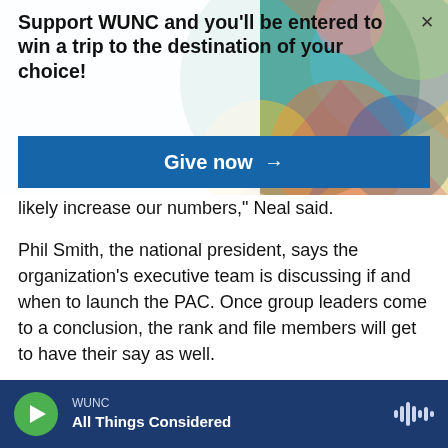[Figure (screenshot): Colorful geometric art background with circles and triangles in teal, pink, green, yellow, blue colors]
Support WUNC and you'll be entered to win a trip to the destination of your choice!
Give now →
likely increase our numbers," Neal said.
Phil Smith, the national president, says the organization's executive team is discussing if and when to launch the PAC. Once group leaders come to a conclusion, the rank and file members will get to have their say as well.
Copyright 2021 NPR. To see more, visit https://www.npr.org
WUNC — All Things Considered